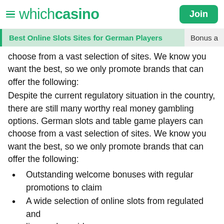whichcasino   Join
Best Online Slots Sites for German Players   Bonus a
choose from a vast selection of sites. We know you want the best, so we only promote brands that can offer the following:
Despite the current regulatory situation in the country, there are still many worthy real money gambling options. German slots and table game players can choose from a vast selection of sites. We know you want the best, so we only promote brands that can offer the following:
Outstanding welcome bonuses with regular promotions to claim
A wide selection of online slots from regulated and licensed providers